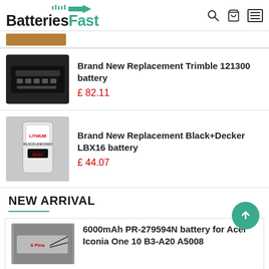[Figure (logo): BatteriesFast logo with green arrow and tachometer icon above the F]
Brand New Replacement Trimble 121300 battery
£ 82.11
Brand New Replacement Black+Decker LBX16 battery
£ 44.07
NEW ARRIVAL
6000mAh PR-279594N battery for Acer Iconia One 10 B3-A20 A5008